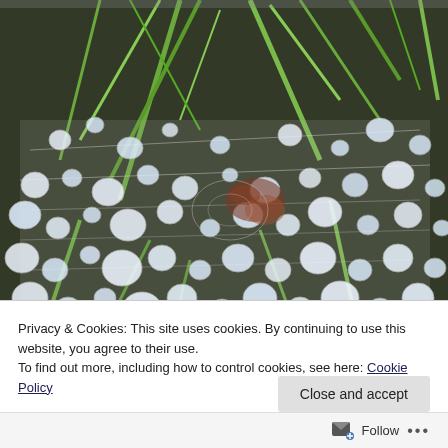[Figure (photo): Close-up photograph of a spider web covered in large water droplets/dew drops, with green pine or heather plant stems visible through the web. The droplets are numerous and circular, glistening against a dark background.]
Privacy & Cookies: This site uses cookies. By continuing to use this website, you agree to their use.
To find out more, including how to control cookies, see here: Cookie Policy
Close and accept
Follow